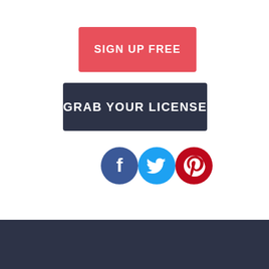[Figure (infographic): Red rounded rectangle button with white uppercase text 'SIGN UP FREE']
[Figure (infographic): Dark navy rounded rectangle button with white uppercase text 'GRAB YOUR LICENSE']
[Figure (infographic): Three social media icons in a row: Facebook (dark blue circle with white 'f'), Twitter (cyan circle with white bird), Pinterest (red circle with white 'P')]
[Figure (infographic): Dark navy footer bar at the bottom of the page]